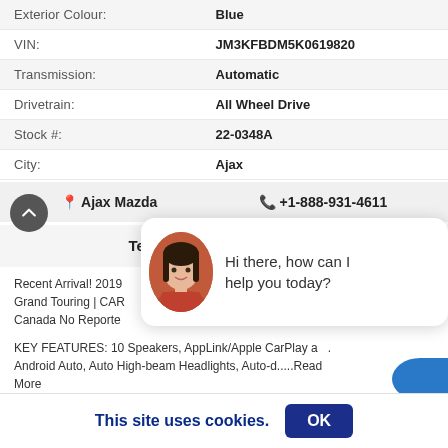| Field | Value |
| --- | --- |
| Exterior Colour: | Blue |
| VIN: | JM3KFBDM5K0619820 |
| Transmission: | Automatic |
| Drivetrain: | All Wheel Drive |
| Stock #: | 22-0348A |
| City: | Ajax |
Ajax Mazda   +1-888-931-4611
Text us: +1-905-428-0088
Recent Arrival! 2019 Grand Touring | CAR... Canada No Reporte...
KEY FEATURES: 10 Speakers, AppLink/Apple CarPlay & Android Auto, Auto High-beam Headlights, Auto-d.....Read More
[Figure (other): Chat assistant overlay with avatar photo and text: Hi there, how can I help you today?]
This site uses cookies.
OK